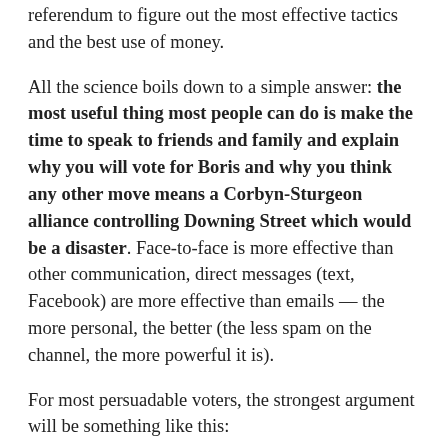referendum to figure out the most effective tactics and the best use of money.
All the science boils down to a simple answer: the most useful thing most people can do is make the time to speak to friends and family and explain why you will vote for Boris and why you think any other move means a Corbyn-Sturgeon alliance controlling Downing Street which would be a disaster. Face-to-face is more effective than other communication, direct messages (text, Facebook) are more effective than emails — the more personal, the better (the less spam on the channel, the more powerful it is).
For most persuadable voters, the strongest argument will be something like this:
You've seen the shambles MPs have made of everything since the referendum, how it has distracted everybody from other important issues and how it has made Britain a